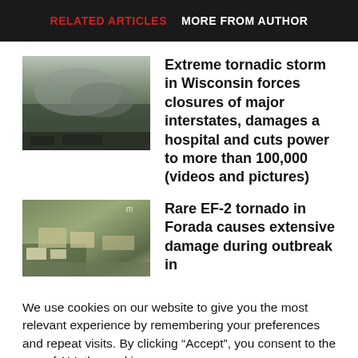RELATED ARTICLES   MORE FROM AUTHOR
[Figure (photo): Storm/tornado image showing dark clouds over landscape]
Extreme tornadic storm in Wisconsin forces closures of major interstates, damages a hospital and cuts power to more than 100,000 (videos and pictures)
[Figure (photo): Aerial view of tornado damage in Forada neighborhood]
Rare EF-2 tornado in Forada causes extensive damage during outbreak in
We use cookies on our website to give you the most relevant experience by remembering your preferences and repeat visits. By clicking “Accept”, you consent to the use of ALL the cookies.
Do not sell my personal information.
Settings   Accept